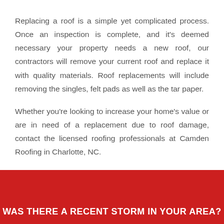Replacing a roof is a simple yet complicated process. Once an inspection is complete, and it's deemed necessary your property needs a new roof, our contractors will remove your current roof and replace it with quality materials. Roof replacements will include removing the singles, felt pads as well as the tar paper.
Whether you're looking to increase your home's value or are in need of a replacement due to roof damage, contact the licensed roofing professionals at Camden Roofing in Charlotte, NC.
WAS THERE A RECENT STORM IN YOUR AREA?